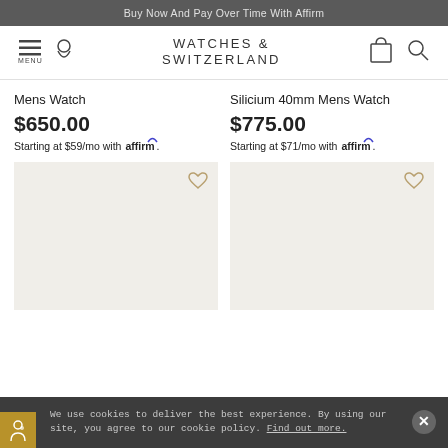Buy Now And Pay Over Time With Affirm
[Figure (screenshot): Watches of Switzerland website navigation bar with menu, location, logo, bag and search icons]
Mens Watch
$650.00
Starting at $59/mo with affirm.
Silicium 40mm Mens Watch
$775.00
Starting at $71/mo with affirm.
[Figure (photo): Product image placeholder left - beige/light grey background with heart wishlist icon]
[Figure (photo): Product image placeholder right - beige/light grey background with heart wishlist icon]
We use cookies to deliver the best experience. By using our site, you agree to our cookie policy. Find out more.